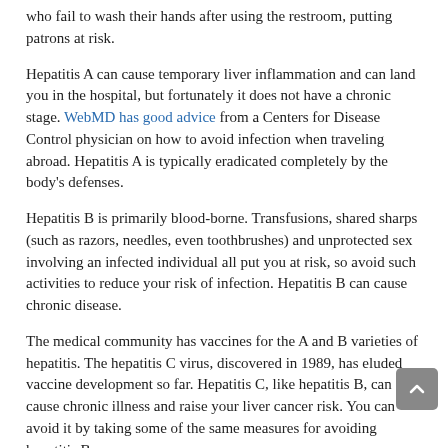who fail to wash their hands after using the restroom, putting patrons at risk.
Hepatitis A can cause temporary liver inflammation and can land you in the hospital, but fortunately it does not have a chronic stage. WebMD has good advice from a Centers for Disease Control physician on how to avoid infection when traveling abroad. Hepatitis A is typically eradicated completely by the body's defenses.
Hepatitis B is primarily blood-borne. Transfusions, shared sharps (such as razors, needles, even toothbrushes) and unprotected sex involving an infected individual all put you at risk, so avoid such activities to reduce your risk of infection. Hepatitis B can cause chronic disease.
The medical community has vaccines for the A and B varieties of hepatitis. The hepatitis C virus, discovered in 1989, has eluded vaccine development so far. Hepatitis C, like hepatitis B, can cause chronic illness and raise your liver cancer risk. You can avoid it by taking some of the same measures for avoiding hepatitis B.
In scheduling hepatitis vaccinations before trips abroad, planning weeks to months ahead is best. Still, there will be times when travelers must take trips on short notice. The CDC says there is some protection within weeks of the vaccination, so last-minute